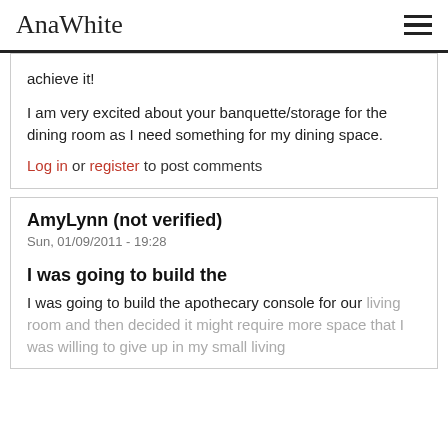AnaWhite
achieve it!
I am very excited about your banquette/storage for the dining room as I need something for my dining space.
Log in or register to post comments
AmyLynn (not verified)
Sun, 01/09/2011 - 19:28
I was going to build the
I was going to build the apothecary console for our living room and then decided it might require more space that I was willing to give up in my small living